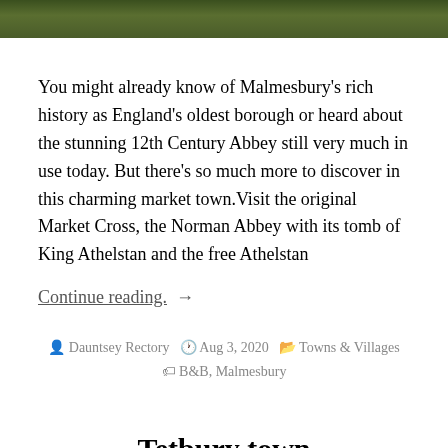[Figure (photo): Partial photo strip showing outdoor grass/garden scene at top of page]
You might already know of Malmesbury's rich history as England's oldest borough or heard about the stunning 12th Century Abbey still very much in use today. But there's so much more to discover in this charming market town.Visit the original Market Cross, the Norman Abbey with its tomb of King Athelstan and the free Athelstan
Continue reading. →
By Dauntsey Rectory  Aug 3, 2020  Towns & Villages  B&B, Malmesbury
Tetbury town